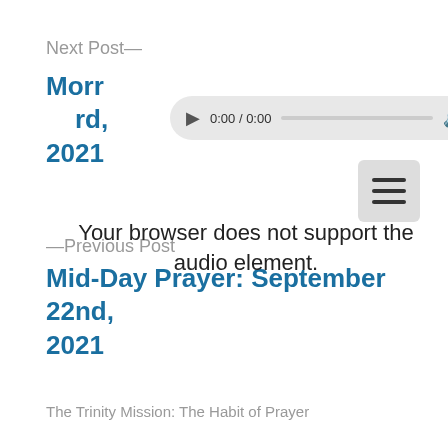Next Post—
Morr rd, 2021
[Figure (screenshot): HTML5 audio player showing 0:00 / 0:00 with playback controls on a light gray rounded background, overlapping the next post title]
[Figure (screenshot): Hamburger menu button (three horizontal lines) on a light gray square rounded background]
Your browser does not support the audio element.
—Previous Post
Mid-Day Prayer: September 22nd, 2021
The Trinity Mission: The Habit of Prayer